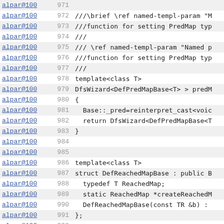| author | line | code |
| --- | --- | --- |
| alpar@100 | 971 |  |
| alpar@100 | 972 | ///\brief \ref named-templ-param "M |
| alpar@100 | 973 | ///function for setting PredMap typ |
| alpar@100 | 974 | /// |
| alpar@100 | 975 | /// \ref named-templ-param "Named p |
| alpar@100 | 976 | ///function for setting PredMap typ |
| alpar@100 | 977 | /// |
| alpar@100 | 978 | template<class T> |
| alpar@100 | 979 | DfsWizard<DefPredMapBase<T> > predM |
| alpar@100 | 980 | { |
| alpar@100 | 981 |   Base::_pred=reinterpret_cast<voic |
| alpar@100 | 982 |   return DfsWizard<DefPredMapBase<T |
| alpar@100 | 983 | } |
| alpar@100 | 984 |  |
| alpar@100 | 985 |  |
| alpar@100 | 986 | template<class T> |
| alpar@100 | 987 | struct DefReachedMapBase : public E |
| alpar@100 | 988 |   typedef T ReachedMap; |
| alpar@100 | 989 |   static ReachedMap *createReachedM |
| alpar@100 | 990 |   DefReachedMapBase(const TR &b) : |
| alpar@100 | 991 | }; |
| alpar@100 | 992 |  |
| alpar@100 | 993 | ///\brief \ref named-templ-param "M |